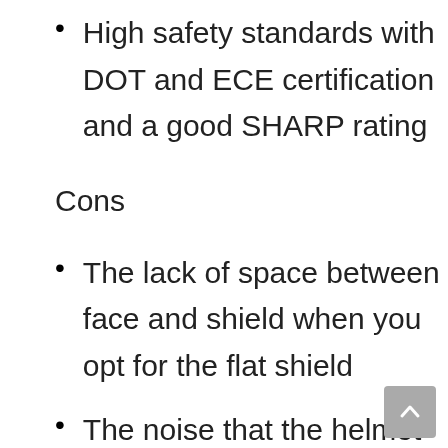High safety standards with DOT and ECE certification and a good SHARP rating
Cons
The lack of space between face and shield when you opt for the flat shield
The noise that the helmet